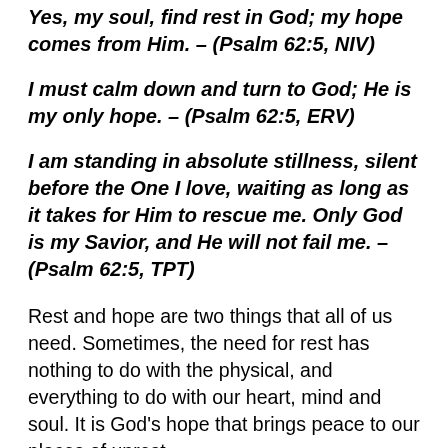Yes, my soul, find rest in God; my hope comes from Him. – (Psalm 62:5, NIV)
I must calm down and turn to God; He is my only hope. – (Psalm 62:5, ERV)
I am standing in absolute stillness, silent before the One I love, waiting as long as it takes for Him to rescue me. Only God is my Savior, and He will not fail me. – (Psalm 62:5, TPT)
Rest and hope are two things that all of us need. Sometimes, the need for rest has nothing to do with the physical, and everything to do with our heart, mind and soul. It is God's hope that brings peace to our places of unrest,